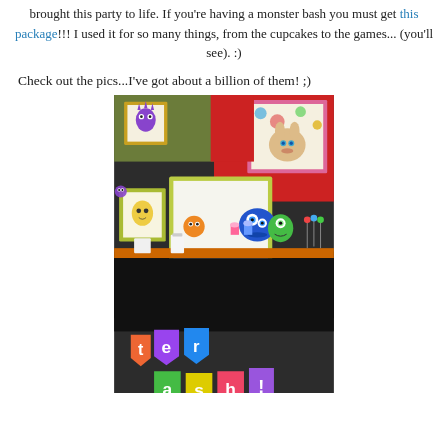brought this party to life. If you're having a monster bash you must get this package!!! I used it for so many things, from the cupcakes to the games... (you'll see). :)
Check out the pics...I've got about a billion of them! ;)
[Figure (photo): A colorful monster-themed birthday party table display with framed monster artwork on a black wall, party decorations, cupcakes, candy, and a banner spelling out letters including 'e', 'r', 'a', 's', 'h', '!' in colorful pennant flags.]